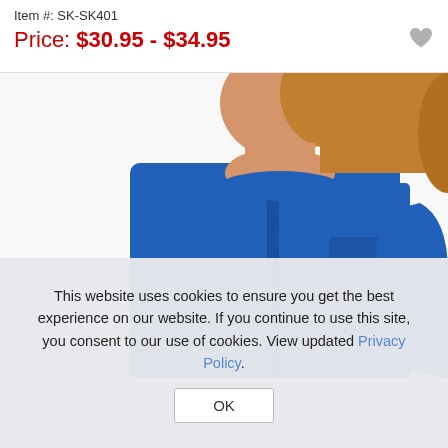Item #: SK-SK401
Price: $30.95 - $34.95
[Figure (photo): Woman wearing a blue long-sleeve button-front cardigan sweater, shown from neck to waist.]
This website uses cookies to ensure you get the best experience on our website. If you continue to use this site, you consent to our use of cookies. View updated Privacy Policy.
OK